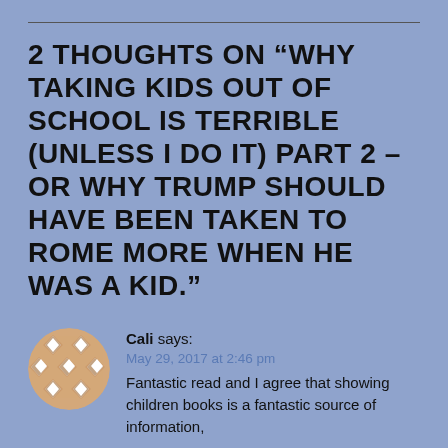2 THOUGHTS ON “WHY TAKING KIDS OUT OF SCHOOL IS TERRIBLE (UNLESS I DO IT) PART 2 – OR WHY TRUMP SHOULD HAVE BEEN TAKEN TO ROME MORE WHEN HE WAS A KID.”
Cali says:
May 29, 2017 at 2:46 pm
Fantastic read and I agree that showing children books is a fantastic source of information,